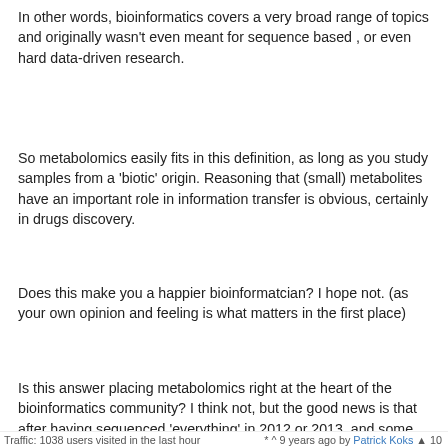In other words, bioinformatics covers a very broad range of topics and originally wasn't even meant for sequence based , or even hard data-driven research.
So metabolomics easily fits in this definition, as long as you study samples from a 'biotic' origin. Reasoning that (small) metabolites have an important role in information transfer is obvious, certainly in drugs discovery.
Does this make you a happier bioinformatcian? I hope not. (as your own opinion and feeling is what matters in the first place)
Is this answer placing metabolomics right at the heart of the bioinformatics community? I think not, but the good news is that after having sequenced 'everything' in 2012 or 2013, and some chewing on this in the years after that, bioinformaticians will have to follow 'experimentalists' to the core discipline of biology metabolomics is to become sooner or later.
ADD COMMENT • link
Traffic: 1038 users visited in the last hour   * ^ 9 years ago by Patrick Koks ▲ 10